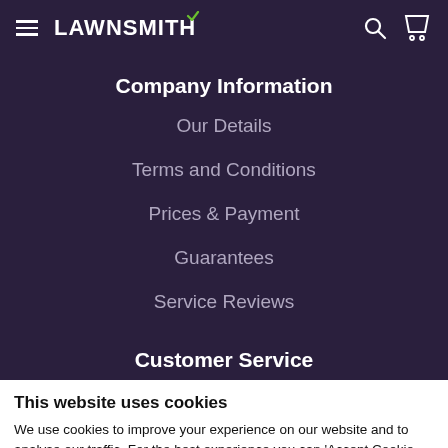LAWNSMITH
Company Information
Our Details
Terms and Conditions
Prices & Payment
Guarantees
Service Reviews
Customer Service
This website uses cookies
We use cookies to improve your experience on our website and to analyse our traffic. For the best experience you can 'Accept Cookie Policy' or you can 'Manage cookie settings'.
Accept Cookie Policy | Manage cookie settings